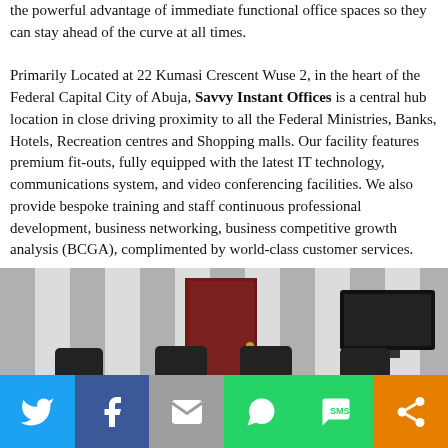the powerful advantage of immediate functional office spaces so they can stay ahead of the curve at all times. Primarily Located at 22 Kumasi Crescent Wuse 2, in the heart of the Federal Capital City of Abuja, Savvy Instant Offices is a central hub location in close driving proximity to all the Federal Ministries, Banks, Hotels, Recreation centres and Shopping malls. Our facility features premium fit-outs, fully equipped with the latest IT technology, communications system, and video conferencing facilities. We also provide bespoke training and staff continuous professional development, business networking, business competitive growth analysis (BCGA), complimented by world-class customer services.
[Figure (photo): Interior photo of a conference room with a large dark wooden conference table, black leather chairs, white and grey striped walls, a dark red/maroon door in the background, and a wall-mounted TV screen on the right side.]
Social share bar with Twitter, Facebook, Email, WhatsApp, SMS, and Share icons